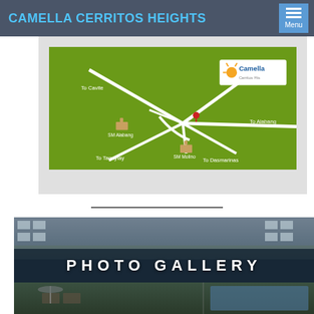CAMELLA CERRITOS HEIGHTS
[Figure (map): Location map of Camella Cerritos Heights showing roads to Cavite, Tagaytay, Alabang, and Dasmarinas with SM Molino and SM Alabang markers and Camella logo]
[Figure (photo): Photo Gallery banner image showing rooftop pool area of Camella Cerritos Heights with text PHOTO GALLERY overlaid]